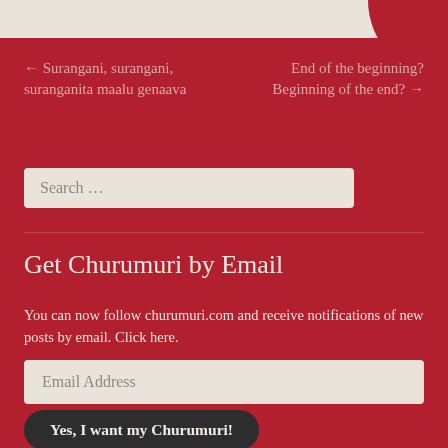[Figure (other): Top decorative bar with light beige background and dark red circular cutout in top-right corner]
← Surangani, surangani, suranganita maalu genaava
End of the beginning? Beginning of the end? →
Search …
Get Churumuri by Email
You can now follow churumuri.com and receive notifications of new posts by email. Click here.
Email Address
Yes, I want my Churumuri!